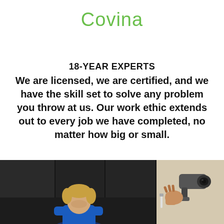Covina
18-YEAR EXPERTS
We are licensed, we are certified, and we have the skill set to solve any problem you throw at us. Our work ethic extends out to every job we have completed, no matter how big or small.
[Figure (photo): Two photos side by side on dark background: left shows a technician with blonde hair, right shows a security camera being installed]